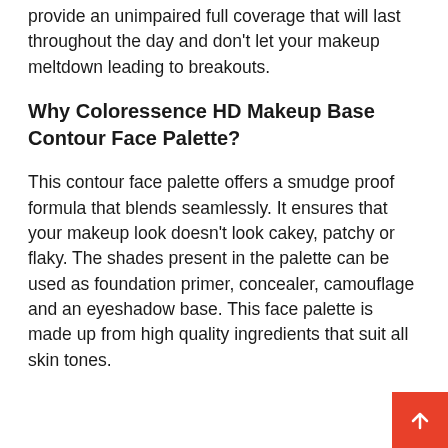provide an unimpaired full coverage that will last throughout the day and don't let your makeup meltdown leading to breakouts.
Why Coloressence HD Makeup Base Contour Face Palette?
This contour face palette offers a smudge proof formula that blends seamlessly. It ensures that your makeup look doesn't look cakey, patchy or flaky. The shades present in the palette can be used as foundation primer, concealer, camouflage and an eyeshadow base. This face palette is made up from high quality ingredients that suit all skin tones.